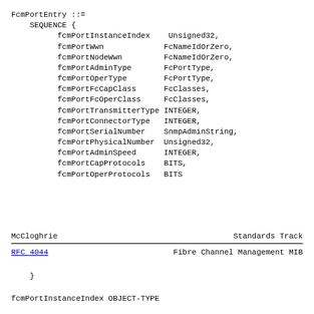FcmPortEntry ::=
    SEQUENCE {
          fcmPortInstanceIndex    Unsigned32,
          fcmPortWwn             FcNameIdOrZero,
          fcmPortNodeWwn         FcNameIdOrZero,
          fcmPortAdminType       FcPortType,
          fcmPortOperType        FcPortType,
          fcmPortFcCapClass      FcClasses,
          fcmPortFcOperClass     FcClasses,
          fcmPortTransmitterType INTEGER,
          fcmPortConnectorType   INTEGER,
          fcmPortSerialNumber    SnmpAdminString,
          fcmPortPhysicalNumber  Unsigned32,
          fcmPortAdminSpeed      INTEGER,
          fcmPortCapProtocols    BITS,
          fcmPortOperProtocols   BITS
McCloghrie                    Standards Track
RFC 4044             Fibre Channel Management MIB
}
fcmPortInstanceIndex OBJECT-TYPE